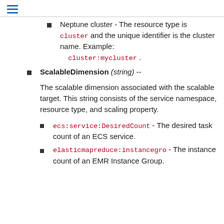Neptune cluster - The resource type is cluster and the unique identifier is the cluster name. Example: cluster:mycluster .
ScalableDimension (string) --

The scalable dimension associated with the scalable target. This string consists of the service namespace, resource type, and scaling property.

• ecs:service:DesiredCount - The desired task count of an ECS service.
• elasticmapreduce:instancegroup - The instance count of an EMR Instance Group.